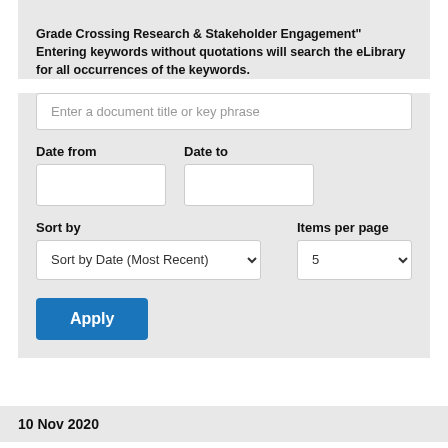Grade Crossing Research & Stakeholder Engagement" Entering keywords without quotations will search the eLibrary for all occurrences of the keywords.
[Figure (screenshot): Search form with text input 'Enter a document title or key phrase', Date from and Date to fields, Sort by dropdown showing 'Sort by Date (Most Recent)', Items per page dropdown showing '5', and an Apply button.]
10 Nov 2020
Compliance